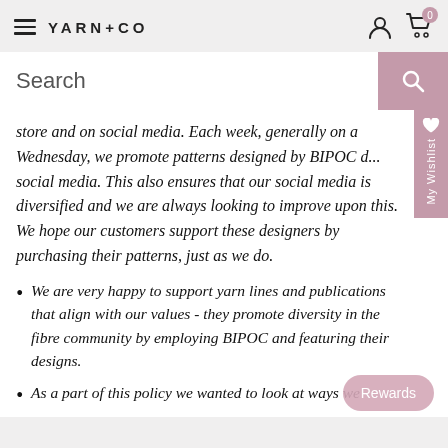YARN+CO
store and on social media. Each week, generally on a Wednesday, we promote patterns designed by BIPOC designers on social media. This also ensures that our social media is diversified and we are always looking to improve upon this. We hope our customers support these designers by purchasing their patterns, just as we do.
We are very happy to support yarn lines and publications that align with our values - they promote diversity in the fibre community by employing BIPOC and featuring their designs.
As a part of this policy we wanted to look at ways we